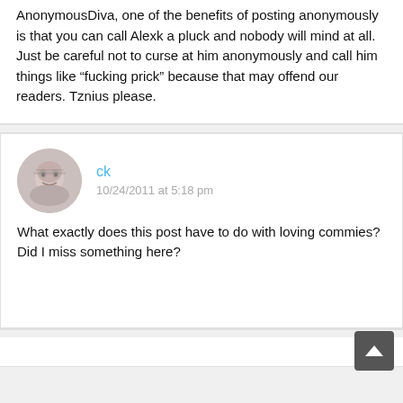AnonymousDiva, one of the benefits of posting anonymously is that you can call Alexk a pluck and nobody will mind at all. Just be careful not to curse at him anonymously and call him things like “fucking prick” because that may offend our readers. Tznius please.
ck
10/24/2011 at 5:18 pm
What exactly does this post have to do with loving commies? Did I miss something here?